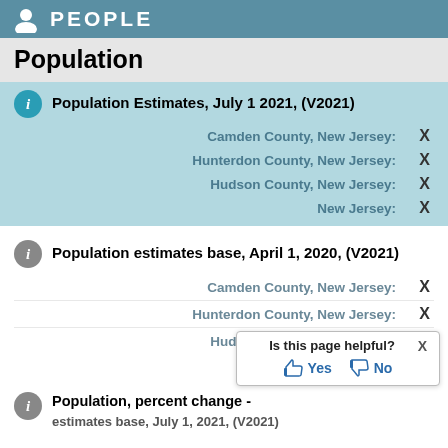PEOPLE
Population
Population Estimates, July 1 2021, (V2021)
Camden County, New Jersey: X
Hunterdon County, New Jersey: X
Hudson County, New Jersey: X
New Jersey: X
Population estimates base, April 1, 2020, (V2021)
Camden County, New Jersey: X
Hunterdon County, New Jersey: X
Hudson County, New Jersey: X
Population, percent change -
Is this page helpful? Yes No